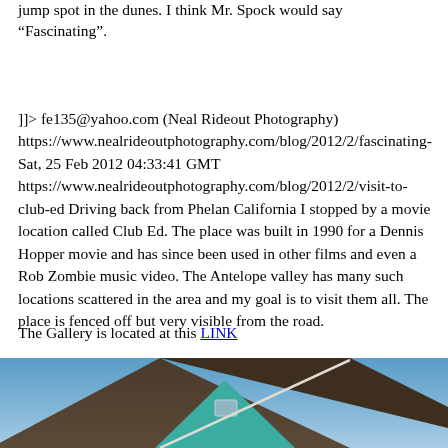jump spot in the dunes.  I think Mr. Spock would say “Fascinating”.
]]> fe135@yahoo.com (Neal Rideout Photography) https://www.nealrideoutphotography.com/blog/2012/2/fascinating- Sat, 25 Feb 2012 04:33:41 GMT https://www.nealrideoutphotography.com/blog/2012/2/visit-to-club-ed Driving back from Phelan California I stopped by a movie location called Club Ed. The place was built in 1990 for a Dennis Hopper movie and has since been used in other films and even a Rob Zombie music video. The Antelope valley has many such locations scattered in the area and my goal is to visit them all. The place is fenced off but very visible from the road.
The Gallery is located at this LINK
[Figure (photo): Photo of a teal/green colored building with a triangular peaked roof against a blue sky]